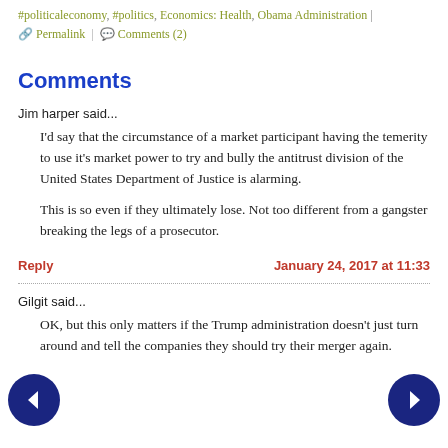#politicaleconomy, #politics, Economics: Health, Obama Administration | Permalink | Comments (2)
Comments
Jim harper said...
I'd say that the circumstance of a market participant having the temerity to use it's market power to try and bully the antitrust division of the United States Department of Justice is alarming.

This is so even if they ultimately lose. Not too different from a gangster breaking the legs of a prosecutor.
Reply | January 24, 2017 at 11:33
Gilgit said...
OK, but this only matters if the Trump administration doesn't just turn around and tell the companies they should try their merger again.